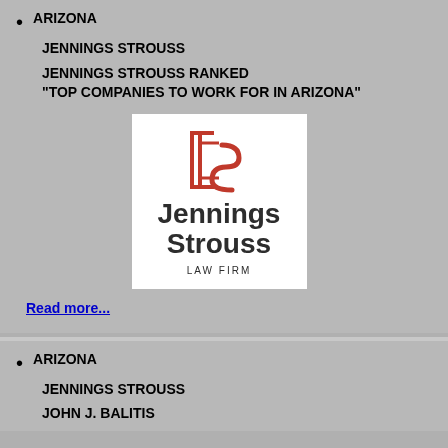ARIZONA
JENNINGS STROUSS
JENNINGS STROUSS RANKED "TOP COMPANIES TO WORK FOR IN ARIZONA"
[Figure (logo): Jennings Strouss Law Firm logo — red bracket/S icon above bold dark text 'Jennings Strouss' and 'LAW FIRM' in spaced caps]
Read more...
ARIZONA
JENNINGS STROUSS
JOHN J. BALITIS